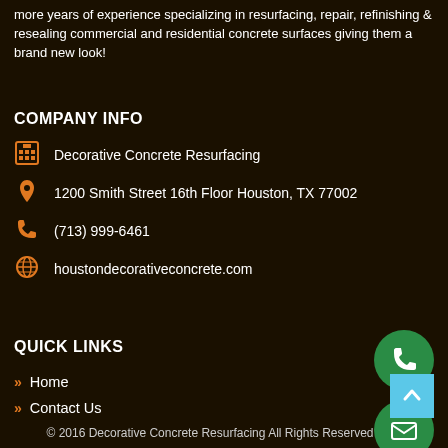more years of experience specializing in resurfacing, repair, refinishing & resealing commercial and residential concrete surfaces giving them a brand new look!
COMPANY INFO
Decorative Concrete Resurfacing
1200 Smith Street 16th Floor Houston, TX 77002
(713) 999-6461
houstondecorativeconcrete.com
QUICK LINKS
Home
Contact Us
Privacy Policy
Terms of Service
[Figure (illustration): Green circle button with white phone icon]
[Figure (illustration): Green circle button with white envelope/mail icon]
[Figure (illustration): Light blue square scroll-to-top button with white chevron up arrow]
© 2016 Decorative Concrete Resurfacing All Rights Reserved